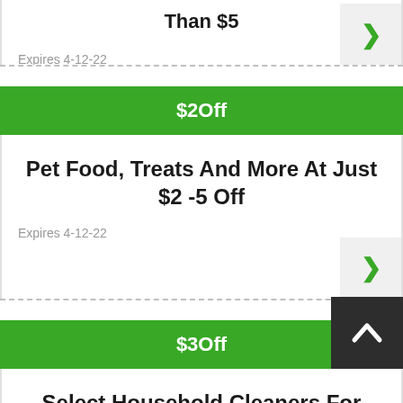than $5
Expires 4-12-22
$2Off
Pet Food, Treats And More At Just $2 -5 Off
Expires 4-12-22
$3Off
Select Household Cleaners For Over $3 Off Selected Purchase